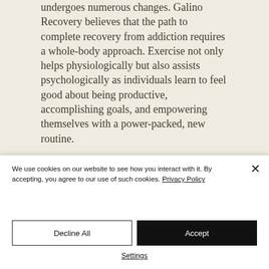undergoes numerous changes. Galino Recovery believes that the path to complete recovery from addiction requires a whole-body approach. Exercise not only helps physiologically but also assists psychologically as individuals learn to feel good about being productive, accomplishing goals, and empowering themselves with a power-packed, new routine.
We use cookies on our website to see how you interact with it. By accepting, you agree to our use of such cookies. Privacy Policy
Decline All
Accept
Settings